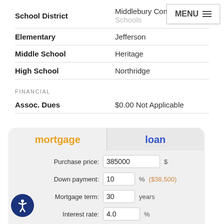|  |  |
| --- | --- |
| School District | Middlebury Community Schools |
| Elementary | Jefferson |
| Middle School | Heritage |
| High School | Northridge |
FINANCIAL
|  |  |
| --- | --- |
| Assoc. Dues | $0.00 Not Applicable |
[Figure (screenshot): Mortgage/loan calculator widget with tabs 'mortgage' and 'loan'. Fields: Purchase price (385000 $), Down payment (10 % / $38,500), Mortgage term (30 years), Interest rate (4.0 %), Property tax (3,000 $ per year, partially visible).]